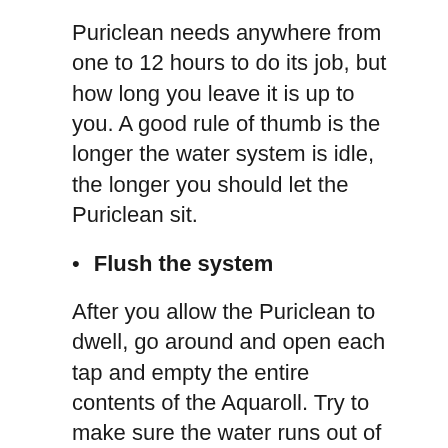Puriclean needs anywhere from one to 12 hours to do its job, but how long you leave it is up to you. A good rule of thumb is the longer the water system is idle, the longer you should let the Puriclean sit.
Flush the system
After you allow the Puriclean to dwell, go around and open each tap and empty the entire contents of the Aquaroll. Try to make sure the water runs out of every tap, including the shower.
When the water is gone, refill the Aquaroll and allow the water to run through the whole system, flushing out the Puriclean. Repeat this process three or four more times